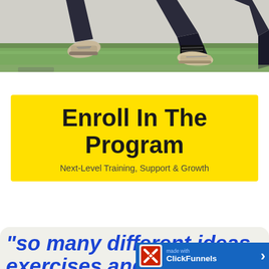[Figure (photo): Close-up photo of athlete's legs/feet in cleats running or fielding on green grass field, cropped to show only lower legs and shoes]
Enroll In The Program
Next-Level Training, Support & Growth
"so many different ideas, exercises and tips that...
[Figure (logo): ClickFunnels made with bar at bottom right corner with ClickFunnels logo, text 'made with ClickFunnels' and a right arrow]